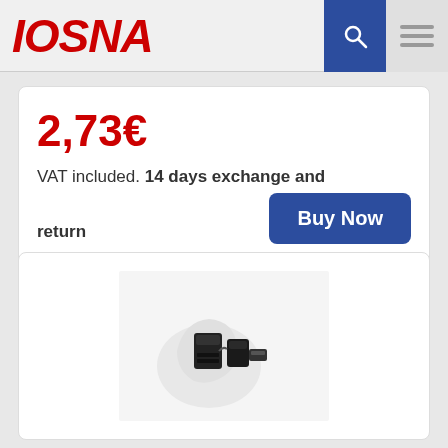IOSNA
2,73€ VAT included. 14 days exchange and return
[Figure (photo): Buy Now button]
[Figure (photo): Product photo: small black plastic clip/bracket connector piece on white background]